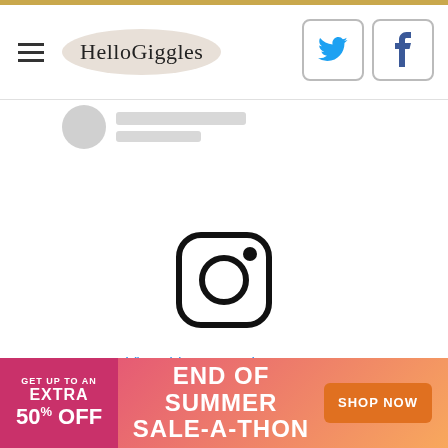HelloGiggles
[Figure (screenshot): Instagram embed placeholder showing Instagram logo icon and 'View this post on Instagram' link, with a blurred user profile stub at top]
[Figure (infographic): End of Summer Sale-A-Thon advertisement banner: 'GET UP TO AN EXTRA 50% OFF' on left, 'END OF SUMMER SALE-A-THON' in center, 'SHOP NOW' orange button on right]